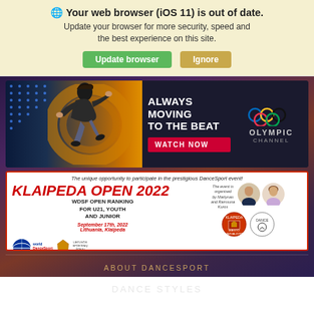🌐 Your web browser (iOS 11) is out of date. Update your browser for more security, speed and the best experience on this site.
Update browser | Ignore
[Figure (infographic): Olympic Channel advertisement banner: dancer jumping against a blue/gold background, text 'ALWAYS MOVING TO THE BEAT', red 'WATCH NOW' button, Olympic rings logo and 'OLYMPIC CHANNEL' text]
[Figure (infographic): Klaipeda Open 2022 DanceSport event advertisement: tagline 'The unique opportunity to participate in the prestigious DanceSport event!', large red title 'KLAIPEDA OPEN 2022', WDSF Open Ranking for U21, Youth and Junior, September 17th 2022, Lithuania Klaipeda, organizer photos, logos]
ABOUT DANCESPORT
DANCE STYLES